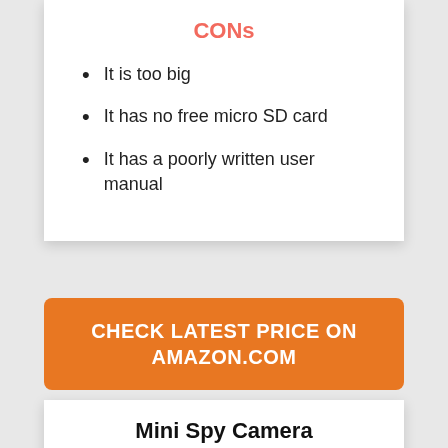CONs
It is too big
It has no free micro SD card
It has a poorly written user manual
CHECK LATEST PRICE ON AMAZON.COM
Mini Spy Camera